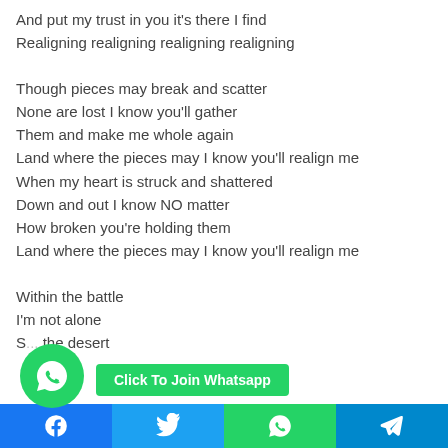And put my trust in you it's there I find
Realigning realigning realigning realigning
Though pieces may break and scatter
None are lost I know you'll gather
Them and make me whole again
Land where the pieces may I know you'll realign me
When my heart is struck and shattered
Down and out I know NO matter
How broken you're holding them
Land where the pieces may I know you'll realign me
Within the battle
I'm not alone
S... the desert
[Figure (screenshot): WhatsApp join button overlay with social share bar (Facebook, Twitter, WhatsApp, Telegram)]